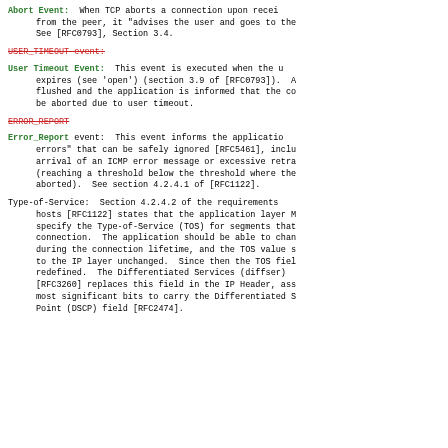Abort Event: When TCP aborts a connection upon receiving a RST from the peer, it "advises the user and goes to the CLOSED state". See [RFC0793], Section 3.4.
USER_TIMEOUT event:
User Timeout Event: This event is executed when the user timeout expires (see 'open') (section 3.9 of [RFC0793]). All queued SENDs are flushed and the application is informed that the connection has been aborted due to user timeout.
ERROR_REPORT
Error_Report event: This event informs the application of "soft errors" that can be safely ignored [RFC5461], including the arrival of an ICMP error message or excessive retransmissions (reaching a threshold below the threshold where the connection is aborted). See section 4.2.4.1 of [RFC1122].
Type-of-Service: Section 4.2.4.2 of the requirements for Internet hosts [RFC1122] states that the application layer MUST be able to specify the Type-of-Service (TOS) for segments that are sent on a connection. The application should be able to change the TOS during the connection lifetime, and the TOS value should be passed to the IP layer unchanged. Since then the TOS field has been redefined. The Differentiated Services (diffserv) architecture [RFC3260] replaces this field in the IP Header, assigning the 6 most significant bits to carry the Differentiated Services Code Point (DSCP) field [RFC2474].